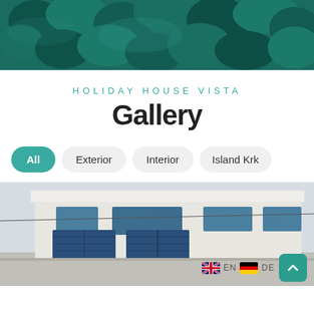[Figure (photo): Aerial view of dark green forest/trees from above, teal-toned]
HOLIDAY HOUSE VISTA
Gallery
All
Exterior
Interior
Island Krk
[Figure (photo): Exterior of a modern white holiday house with blue garage doors, partial view]
EN  DE